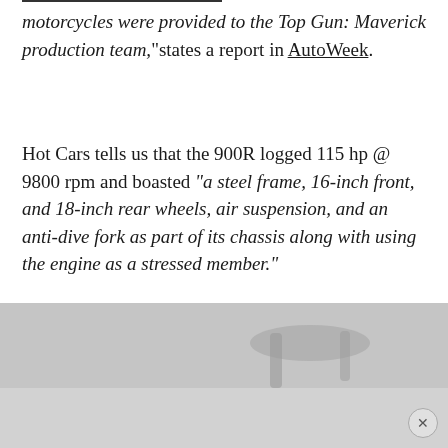motorcycles were provided to the Top Gun: Maverick production team," states a report in AutoWeek.
Hot Cars tells us that the 900R logged 115 hp @ 9800 rpm and boasted "a steel frame, 16-inch front, and 18-inch rear wheels, air suspension, and an anti-dive fork as part of its chassis along with using the engine as a stressed member."
This added to the fact that the Ninja 900R uses the engine as a stressed member (rare for the time), with the neat addition of an aircraft-style fuel cap to replace the usual twisting unit.
[Figure (photo): Partial photo of a motorcycle handlebar area, gray/white tones, partially obscured by an advertisement overlay with a close button.]